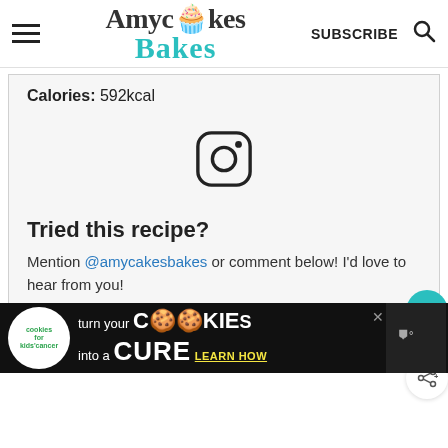AmycakesBakes — SUBSCRIBE
Calories: 592kcal
[Figure (logo): Instagram icon (camera outline in rounded square)]
Tried this recipe?
Mention @amycakesbakes or comment below! I'd love to hear from you!
[Figure (other): Print recipe teal button bar with WHAT'S NEXT arrow and The Best Blueberry...]
[Figure (other): Advertisement banner: cookies for kids cancer — turn your COOKIES into a CURE LEARN HOW]